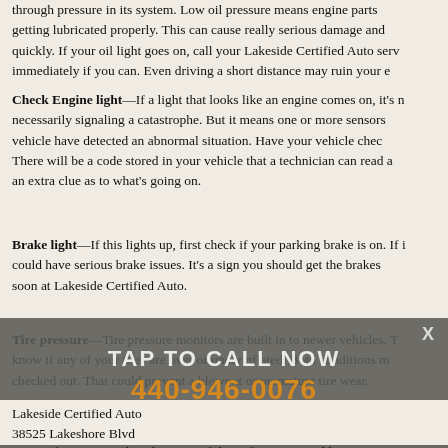through pressure in its system. Low oil pressure means engine parts aren't getting lubricated properly. This can cause really serious damage and quickly. If your oil light goes on, call your Lakeside Certified Auto service immediately if you can. Even driving a short distance may ruin your engine.
Check Engine light—If a light that looks like an engine comes on, it's not necessarily signaling a catastrophe. But it means one or more sensors in your vehicle have detected an abnormal situation. Have your vehicle checked out. There will be a code stored in your vehicle that a technician can read and give an extra clue as to what's going on.
Brake light—If this lights up, first check if your parking brake is on. If it isn't, you could have serious brake issues. It's a sign you should get the brakes checked soon at Lakeside Certified Auto.
Tire pressure—Tire pressure monitors are built in to newer vehicles. They let you know if any of your tires are over or underinflated. Both conditions need to be checked out. That could prevent a blowout or premature tire wear.
TAP TO CALL NOW
440-946-0076
The dashboard isn't what it used to be. In fact, it's much better now. It's more informative. Take advantage of that information and keep your vehicle running the way it should.
Lakeside Certified Auto
38525 Lakeshore Blvd